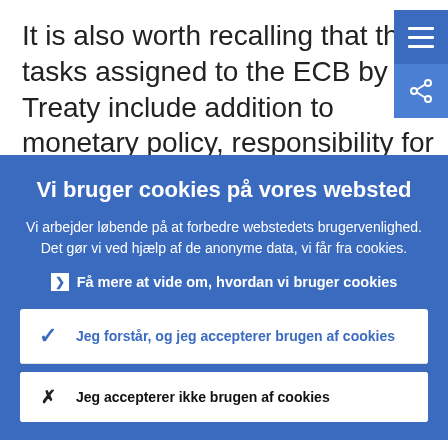It is also worth recalling that the tasks assigned to the ECB by the Treaty include addition to monetary policy, responsibility for promoting the smooth operation of
Vi bruger cookies på vores websted
Vi arbejder løbende på at forbedre webstedets brugervenlighed. Det gør vi ved hjælp af de anonyme data, vi får fra cookies.
Få mere at vide om, hvordan vi bruger cookies
Jeg forstår, og jeg accepterer brugen af cookies
Jeg accepterer ikke brugen af cookies